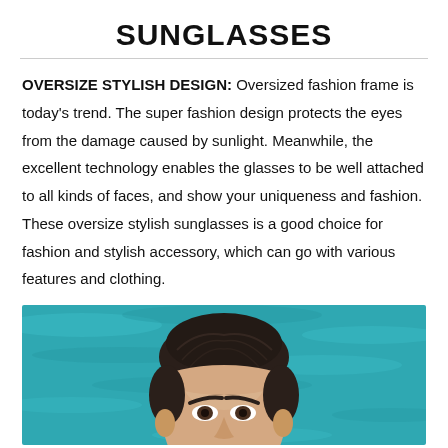SUNGLASSES
OVERSIZE STYLISH DESIGN: Oversized fashion frame is today's trend. The super fashion design protects the eyes from the damage caused by sunlight. Meanwhile, the excellent technology enables the glasses to be well attached to all kinds of faces, and show your uniqueness and fashion. These oversize stylish sunglasses is a good choice for fashion and stylish accessory, which can go with various features and clothing.
[Figure (photo): A man's face with short dark hair against a teal/blue water background, shown from forehead to nose area]